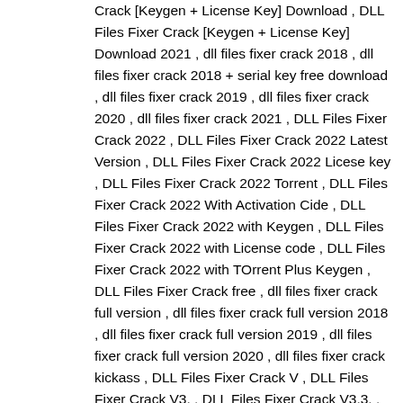Crack [Keygen + License Key] Download , DLL Files Fixer Crack [Keygen + License Key] Download 2021 , dll files fixer crack 2018 , dll files fixer crack 2018 + serial key free download , dll files fixer crack 2019 , dll files fixer crack 2020 , dll files fixer crack 2021 , DLL Files Fixer Crack 2022 , DLL Files Fixer Crack 2022 Latest Version , DLL Files Fixer Crack 2022 Licese key , DLL Files Fixer Crack 2022 Torrent , DLL Files Fixer Crack 2022 With Activation Cide , DLL Files Fixer Crack 2022 with Keygen , DLL Files Fixer Crack 2022 with License code , DLL Files Fixer Crack 2022 with TOrrent Plus Keygen , DLL Files Fixer Crack free , dll files fixer crack full version , dll files fixer crack full version 2018 , dll files fixer crack full version 2019 , dll files fixer crack full version 2020 , dll files fixer crack kickass , DLL Files Fixer Crack V , DLL Files Fixer Crack V3. , DLL Files Fixer Crack V3.3. , DLL Files Fixer Crack V3.3.9 , DLL Files Fixer Crack V3.3.92 , DLL Files Fixer Crack V3.3.92 Full , DLL Files Fixer Crack V3.3.92 Full Activation , DLL Files Fixer Crack V3.3.92 Full Activation Key , DLL Files Fixer Crack V3.3.92 Full Activation Key Crack , DLL Files Fixer Crack V3.3.92 Full Activation Key Crack 2021 , DLL